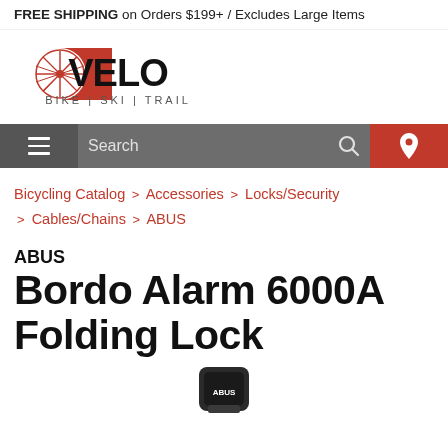FREE SHIPPING on Orders $199+ / Excludes Large Items
[Figure (logo): VELO Bike | Ski | Trail logo with red wheel icon and bold VELO text]
[Figure (screenshot): Navigation bar with hamburger menu, search bar, and location pin icon]
Bicycling Catalog > Accessories > Locks/Security > Cables/Chains > ABUS
ABUS
Bordo Alarm 6000A Folding Lock
[Figure (photo): Partial product photo of ABUS Bordo Alarm 6000A Folding Lock, showing top portion of the lock device]